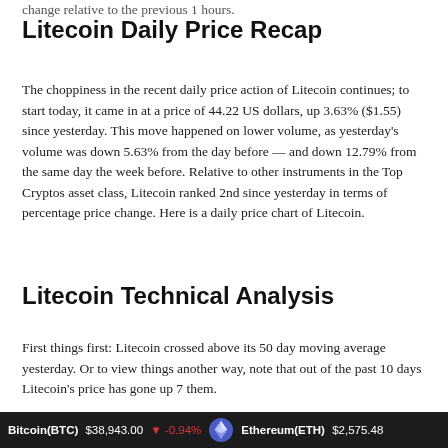change relative to the previous 1 hours.
Litecoin Daily Price Recap
The choppiness in the recent daily price action of Litecoin continues; to start today, it came in at a price of 44.22 US dollars, up 3.63% ($1.55) since yesterday. This move happened on lower volume, as yesterday's volume was down 5.63% from the day before — and down 12.79% from the same day the week before. Relative to other instruments in the Top Cryptos asset class, Litecoin ranked 2nd since yesterday in terms of percentage price change. Here is a daily price chart of Litecoin.
Litecoin Technical Analysis
First things first: Litecoin crossed above its 50 day moving average yesterday. Or to view things another way, note that out of the past 10 days Litecoin's price has gone up 7 them.
Bitcoin(BTC) $38,943.00 ↓ -0.94%  Ethereum(ETH) $2,575.48